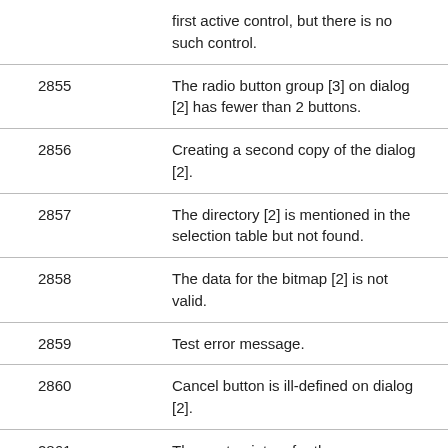| Code | Description |
| --- | --- |
|  | first active control, but there is no such control. |
| 2855 | The radio button group [3] on dialog [2] has fewer than 2 buttons. |
| 2856 | Creating a second copy of the dialog [2]. |
| 2857 | The directory [2] is mentioned in the selection table but not found. |
| 2858 | The data for the bitmap [2] is not valid. |
| 2859 | Test error message. |
| 2860 | Cancel button is ill-defined on dialog [2]. |
| 2861 | The next pointers for the… |